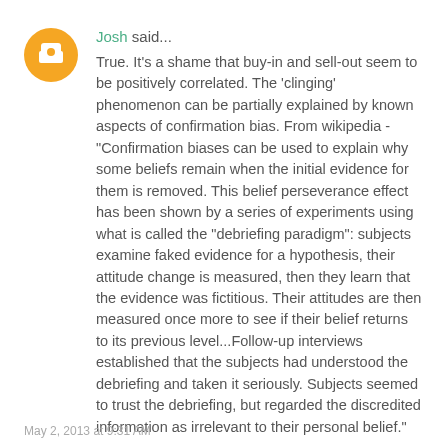Josh said...
True. It's a shame that buy-in and sell-out seem to be positively correlated. The 'clinging' phenomenon can be partially explained by known aspects of confirmation bias. From wikipedia - "Confirmation biases can be used to explain why some beliefs remain when the initial evidence for them is removed. This belief perseverance effect has been shown by a series of experiments using what is called the "debriefing paradigm": subjects examine faked evidence for a hypothesis, their attitude change is measured, then they learn that the evidence was fictitious. Their attitudes are then measured once more to see if their belief returns to its previous level...Follow-up interviews established that the subjects had understood the debriefing and taken it seriously. Subjects seemed to trust the debriefing, but regarded the discredited information as irrelevant to their personal belief."
May 2, 2013 at 9:31 AM